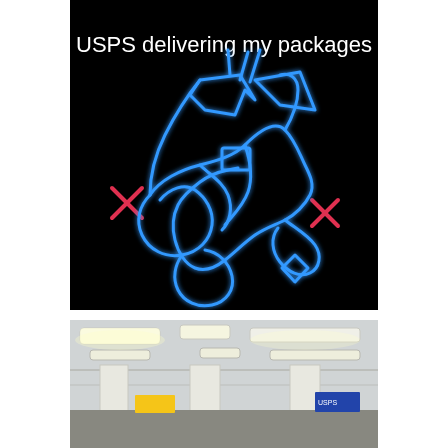[Figure (illustration): Meme image on black background with white text 'USPS delivering my packages' at top, and a chaotic neon blue glowing squiggle/scribble shape resembling a delivery route map with two red X marks on the left and right sides.]
[Figure (photo): Photo of the interior of a USPS post office building showing fluorescent ceiling lights, white columns, and yellow/blue signage visible in the background.]